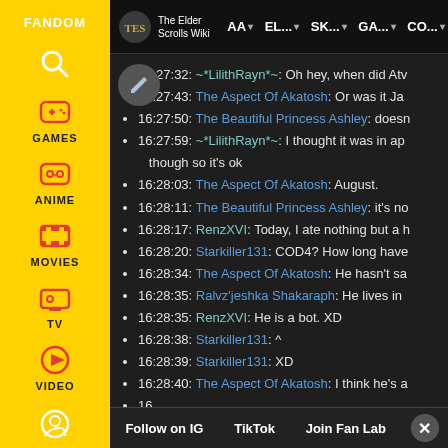[Figure (screenshot): Fandom wiki sidebar with yellow background showing navigation icons for FANDOM, GAMES, ANIME, MOVIES, TV, VIDEO categories]
The Elder Scrolls Wiki | AA | EL... | SK... | GA... | CO...
16:27:32: ~*LilithRayn*~: Oh hey, when did Atv
16:27:43: The Aspect Of Akatosh: Or was it Ja
16:27:50: The Beautiful Princess Ashley: doesn
16:27:59: ~*LilithRayn*~: I thought it was in ap though so it's ok
16:28:03: The Aspect Of Akatosh: August.
16:28:11: The Beautiful Princess Ashley: it's no
16:28:17: RenzXVI: Today, I ate nothing but a h
16:28:20: Starkiller131: COD4? How long have
16:28:34: The Aspect Of Akatosh: He hasn't sa
16:28:35: Ralvz'jeshka Shakaraph: He lives in
16:28:35: RenzXVI: He is a bot. XD
16:28:38: Starkiller131: ^
16:28:39: Starkiller131: XD
16:28:40: The Aspect Of Akatosh: I think he's a
16.
Follow on IG | TikTok | Join Fan Lab | X